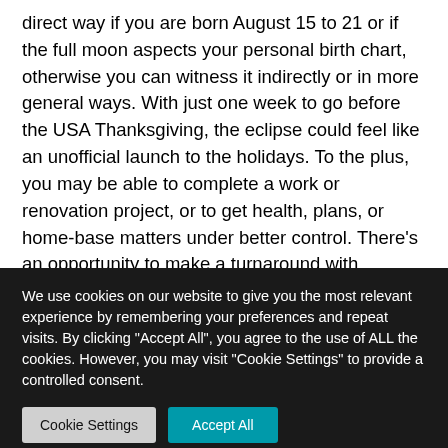direct way if you are born August 15 to 21 or if the full moon aspects your personal birth chart, otherwise you can witness it indirectly or in more general ways. With just one week to go before the USA Thanksgiving, the eclipse could feel like an unofficial launch to the holidays. To the plus, you may be able to complete a work or renovation project, or to get health, plans, or home-base matters under better control. There's an opportunity to make a turnaround with someone in charge. This eclipse can be fruitful for the job hunt, tests, re-working the budget, revamping the plan, etc. The sun
We use cookies on our website to give you the most relevant experience by remembering your preferences and repeat visits. By clicking "Accept All", you agree to the use of ALL the cookies. However, you may visit "Cookie Settings" to provide a controlled consent.